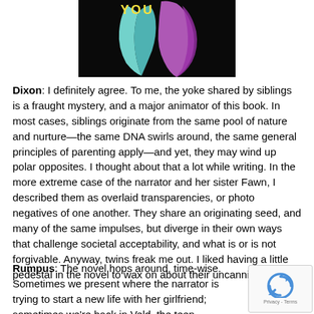[Figure (illustration): Book cover image showing two colorful abstract shapes (teal and purple/magenta) against a black background, with text 'YOU' visible at top in yellow]
Dixon: I definitely agree. To me, the yoke shared by siblings is a fraught mystery, and a major animator of this book. In most cases, siblings originate from the same pool of nature and nurture—the same DNA swirls around, the same general principles of parenting apply—and yet, they may wind up polar opposites. I thought about that a lot while writing. In the more extreme case of the narrator and her sister Fawn, I described them as overlaid transparencies, or photo negatives of one another. They share an originating seed, and many of the same impulses, but diverge in their own ways that challenge societal acceptability, and what is or is not forgivable. Anyway, twins freak me out. I liked having a little pedestal in the novel to wax on about their uncanniness.
Rumpus: The novel hops around, time-wise. Sometimes we present where the narrator is trying to start a new life with her girlfriend; sometimes we're back in Veld, the teen rehabilitation